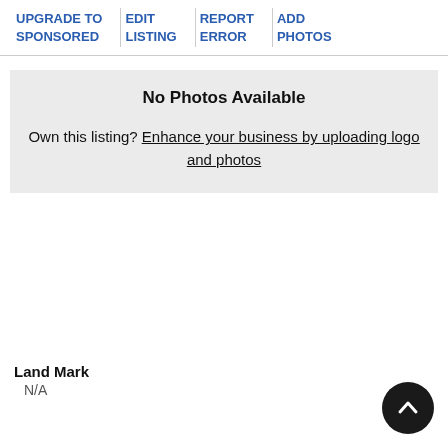UPGRADE TO SPONSORED | EDIT LISTING | REPORT ERROR | ADD PHOTOS
[Figure (other): No Photos Available box with prompt to enhance business by uploading logo and photos]
Land Mark
N/A